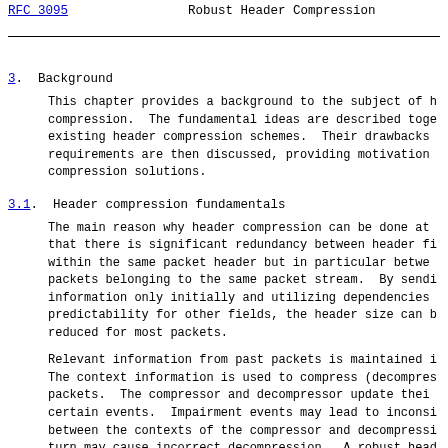RFC 3095    Robust Header Compression
3.  Background
This chapter provides a background to the subject of header compression.  The fundamental ideas are described together with existing header compression schemes.  Their drawbacks and requirements are then discussed, providing motivation for new compression solutions.
3.1.  Header compression fundamentals
The main reason why header compression can be done at all is that there is significant redundancy between header fields, within the same packet header but in particular between packets belonging to the same packet stream.  By sending information only initially and utilizing dependencies and predictability for other fields, the header size can be reduced for most packets.
Relevant information from past packets is maintained in a context. The context information is used to compress (decompress) packets.  The compressor and decompressor update their contexts at certain events.  Impairment events may lead to inconsistency between the contexts of the compressor and decompressor, which in turn may cause incorrect decompression.  A robust header